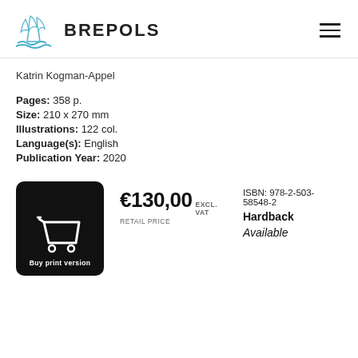[Figure (logo): Brepols publisher logo: blue line art of a book/wheat sheaf with waves, next to bold text BREPOLS]
Katrin Kogman-Appel
Pages: 358 p.
Size: 210 x 270 mm
Illustrations: 122 col.
Language(s): English
Publication Year: 2020
[Figure (illustration): Black rounded rectangle button with white shopping cart icon and text 'Buy print version']
€130,00 EXCL. VAT
RETAIL PRICE
ISBN: 978-2-503-58548-2
Hardback
Available